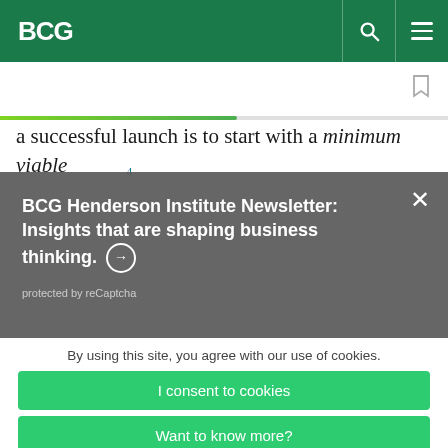BCG
a successful launch is to start with a minimum viable
BCG Henderson Institute Newsletter: Insights that are shaping business thinking. ➔
protected by reCaptcha
By using this site, you agree with our use of cookies.
I consent to cookies
Want to know more?
Read our Cookie Policy